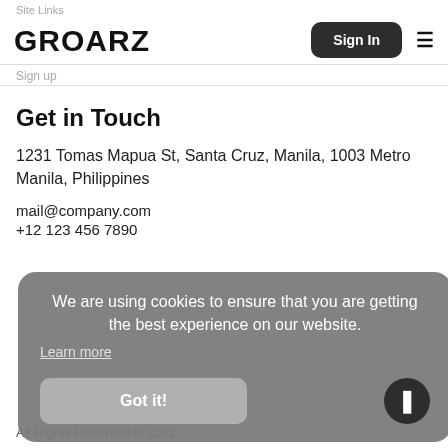Site Links
GROARZ
Sign In
Sign up
Get in Touch
1231 Tomas Mapua St, Santa Cruz, Manila, 1003 Metro Manila, Philippines
mail@company.com
+12 123 456 7890
We are using cookies to ensure that you are getting the best experience on our website.
Learn more
Got it!
All Rights Reserved © 2022